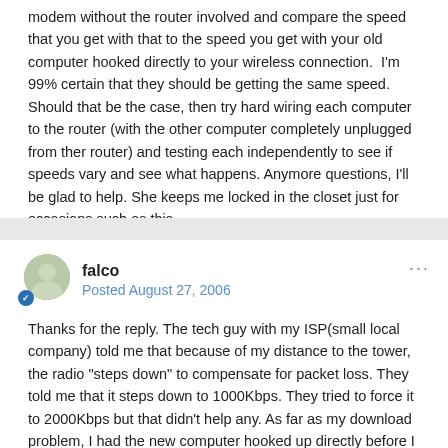modem without the router involved and compare the speed that you get with that to the speed you get with your old computer hooked directly to your wireless connection.  I'm 99% certain that they should be getting the same speed.  Should that be the case, then try hard wiring each computer to the router (with the other computer completely unplugged from ther router) and testing each independently to see if speeds vary and see what happens. Anymore questions, I'll be glad to help. She keeps me locked in the closet just for occasions such as this.
falco
Posted August 27, 2006
Thanks for the reply. The tech guy with my ISP(small local company) told me that because of my distance to the tower, the radio "steps down" to compensate for packet loss. They told me that it steps down to 1000Kbps. They tried to force it to 2000Kbps but that didn't help any. As far as my download problem, I had the new computer hooked up directly before I